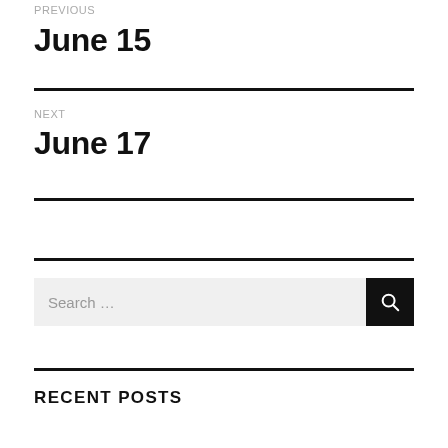PREVIOUS
June 15
NEXT
June 17
[Figure (other): Search input box with search button icon]
RECENT POSTS